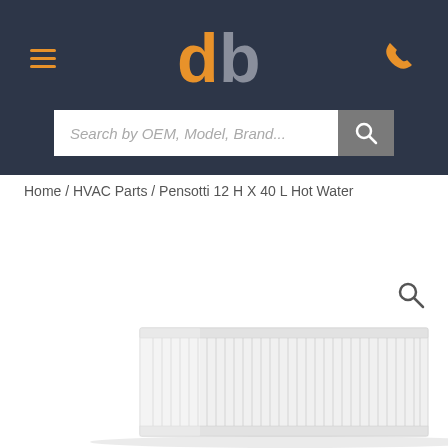db — Search by OEM, Model, Brand...
Home / HVAC Parts / Pensotti 12 H X 40 L Hot Water
[Figure (photo): White panel hot water radiator, Pensotti 12 H X 40 L, viewed from slightly above, showing vertical fins/columns on the front face.]